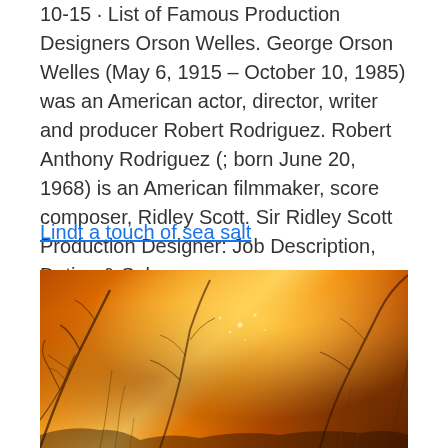10-15 · List of Famous Production Designers Orson Welles. George Orson Welles (May 6, 1915 – October 10, 1985) was an American actor, director, writer and producer Robert Rodriguez. Robert Anthony Rodriguez (; born June 20, 1968) is an American filmmaker, score composer, Ridley Scott. Sir Ridley Scott Production Designer: Job Description, Duties & Salary.
Lindt a touch of sea salt
[Figure (photo): Close-up photo of frost-covered or dew-covered wild plants/branches backlit by a warm golden-orange sunset or sunrise light.]